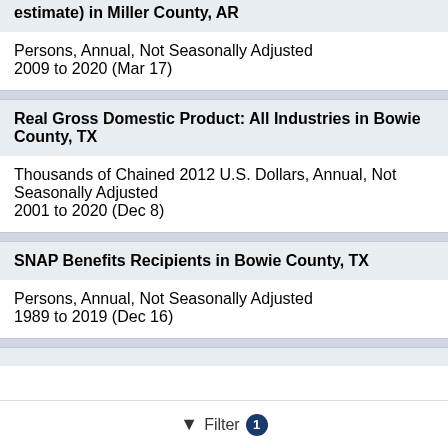estimate) in Miller County, AR
Persons, Annual, Not Seasonally Adjusted
2009 to 2020 (Mar 17)
Real Gross Domestic Product: All Industries in Bowie County, TX
Thousands of Chained 2012 U.S. Dollars, Annual, Not Seasonally Adjusted
2001 to 2020 (Dec 8)
SNAP Benefits Recipients in Bowie County, TX
Persons, Annual, Not Seasonally Adjusted
1989 to 2019 (Dec 16)
Filter 1